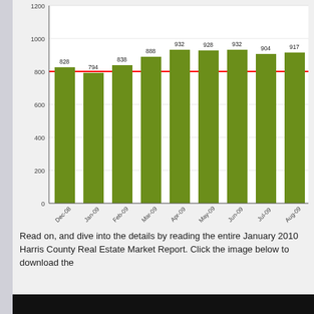[Figure (bar-chart): Harris County Real Estate Sales]
Read on, and dive into the details by reading the entire January 2010 Harris County Real Estate Market Report.  Click the image below to download the